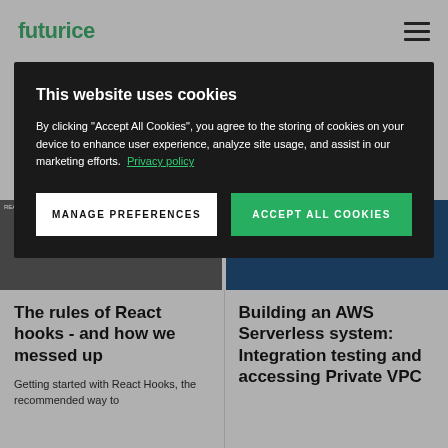futurice
This website uses cookies
By clicking "Accept All Cookies", you agree to the storing of cookies on your device to enhance user experience, analyze site usage, and assist in our marketing efforts. Privacy policy
MANAGE PREFERENCES
ACCEPT ALL COOKIES
[Figure (screenshot): Partially visible thumbnail image of a dark/code-related article cover]
[Figure (screenshot): Partially visible thumbnail image of a blue AWS-related article cover]
The rules of React hooks - and how we messed up
Getting started with React Hooks, the recommended way to
Building an AWS Serverless system: Integration testing and accessing Private VPC